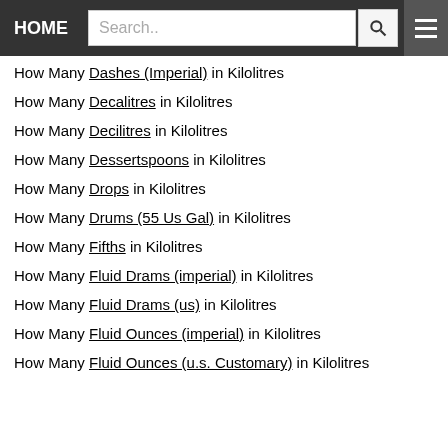HOME | Search..
How Many Dashes (Imperial) in Kilolitres
How Many Decalitres in Kilolitres
How Many Decilitres in Kilolitres
How Many Dessertspoons in Kilolitres
How Many Drops in Kilolitres
How Many Drums (55 Us Gal) in Kilolitres
How Many Fifths in Kilolitres
How Many Fluid Drams (imperial) in Kilolitres
How Many Fluid Drams (us) in Kilolitres
How Many Fluid Ounces (imperial) in Kilolitres
How Many Fluid Ounces (u.s. Customary) in Kilolitres